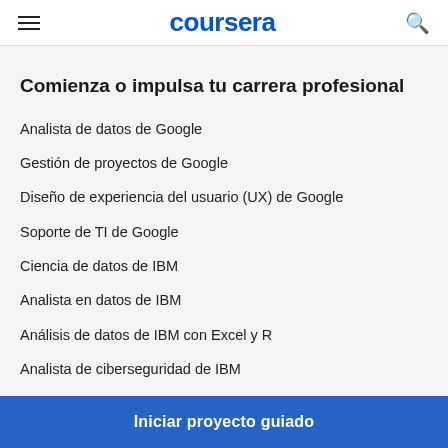coursera
Comienza o impulsa tu carrera profesional
Analista de datos de Google
Gestión de proyectos de Google
Diseño de experiencia del usuario (UX) de Google
Soporte de TI de Google
Ciencia de datos de IBM
Analista en datos de IBM
Análisis de datos de IBM con Excel y R
Analista de ciberseguridad de IBM
Ingeniería de Datos de IBM
Iniciar proyecto guiado